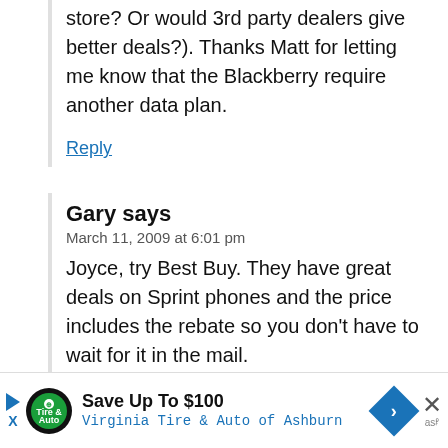store? Or would 3rd party dealers give better deals?). Thanks Matt for letting me know that the Blackberry require another data plan.
Reply
Gary says
March 11, 2009 at 6:01 pm
Joyce, try Best Buy. They have great deals on Sprint phones and the price includes the rebate so you don't have to wait for it in the mail.
Reply
Joyce says
[Figure (other): Advertisement banner: Save Up To $100 - Virginia Tire & Auto of Ashburn, with logo, play button, arrow icon, and close button]